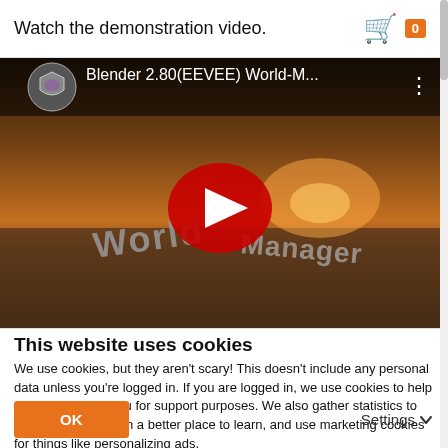Watch the demonstration video.
[Figure (screenshot): YouTube video thumbnail for 'Blender 2.80(EEVEE) World-M...' showing a 3D rendered scene of metallic 'World Manager' text objects in a landscape at sunset, with a red YouTube play button in the center.]
This website uses cookies
We use cookies, but they aren't scary! This doesn't include any personal data unless you're logged in. If you are logged in, we use cookies to help aid in identifying you for support purposes. We also gather statistics to make the application a better place to learn, and use marketing cookies for things like personalizing ads.
OK
Settings